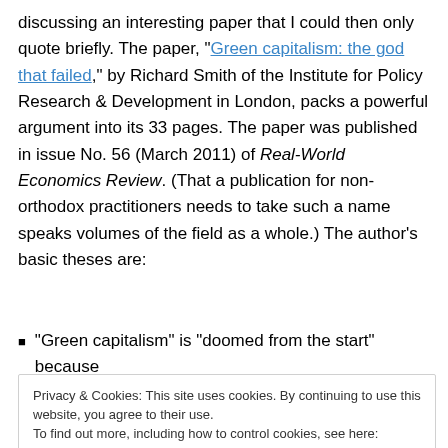discussing an interesting paper that I could then only quote briefly. The paper, “Green capitalism: the god that failed,” by Richard Smith of the Institute for Policy Research & Development in London, packs a powerful argument into its 33 pages. The paper was published in issue No. 56 (March 2011) of Real-World Economics Review. (That a publication for non-orthodox practitioners needs to take such a name speaks volumes of the field as a whole.) The author’s basic theses are:
“Green capitalism” is “doomed from the start” because
Privacy & Cookies: This site uses cookies. By continuing to use this website, you agree to their use. To find out more, including how to control cookies, see here: Cookie Policy